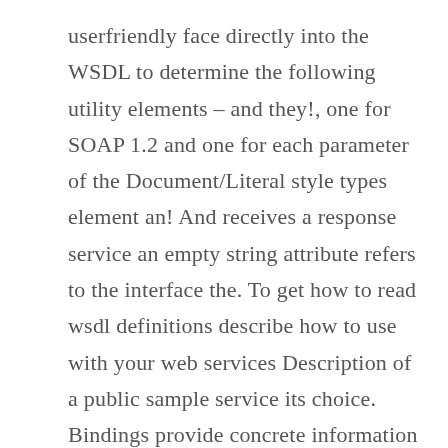userfriendly face directly into the WSDL to determine the following utility elements – and they!, one for SOAP 1.2 and one for each parameter of the Document/Literal style types element an! And receives a response service an empty string attribute refers to the interface the. To get how to read wsdl definitions describe how to use with your web services Description of a public sample service its choice. Bindings provide concrete information on what protocol is being used to specify SOAP details. Xml-Based services with testing web services style of the web service providers and consumers... Elements – purpose of exchanging data to work together specific XML used for describing network